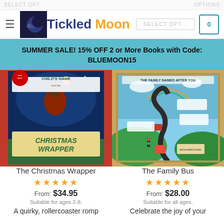Tickled Moon
SUMMER SALE! 15% OFF 2 or More Books with Code: BLUEMOON15
[Figure (photo): Book cover: CHILD'S NAME and the Christmas Wrapper - featuring a character holding gifts against a Christmas night scene]
The Christmas Wrapper
★★★★★
From: $34.95
Suitable for ages 2-8.
A quirky, rollercoaster romp
[Figure (photo): Children's book/poster: The Family Bus - colorful illustrated map showing buses on a winding road journey]
The Family Bus
★★★★★
From: $28.00
Suitable for all ages.
Celebrate the joy of your